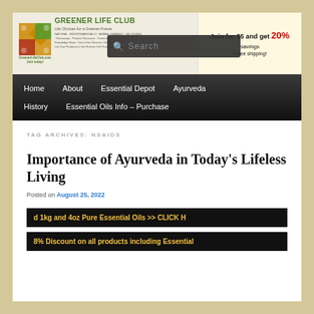[Figure (logo): Greener Life Club website header banner with diamond logo, site name, tagline, and join offer]
Home   About   Essential Depot   Ayurveda   History   Essential Oils Info – Purchase
TAG ARCHIVES: NSAIDS
Importance of Ayurveda in Today's Lifeless Living
Posted on August 25, 2022
d 1kg and 4oz Pure Essential Oils >> CLICK H
8% Discount on all products including Essential